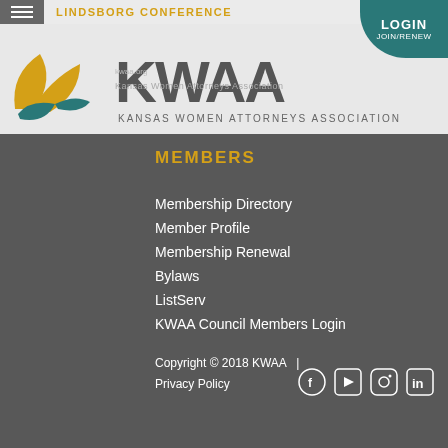LINDSBORG CONFERENCE
[Figure (logo): KWAA - Kansas Women Attorneys Association logo with yellow and teal leaf graphic]
MEMBERS
Membership Directory
Member Profile
Membership Renewal
Bylaws
ListServ
KWAA Council Members Login
Copyright © 2018 KWAA  |  Privacy Policy